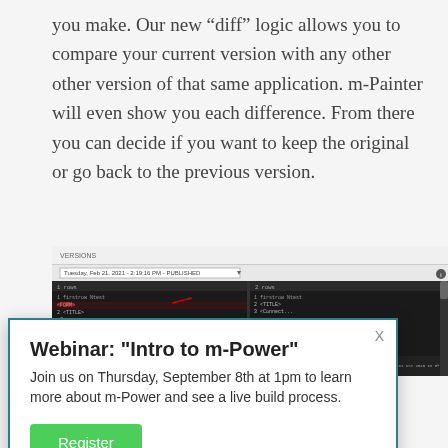you make. Our new “diff” logic allows you to compare your current version with any other other version of that same application. m-Painter will even show you each difference. From there you can decide if you want to keep the original or go back to the previous version.
[Figure (screenshot): Screenshot of m-Painter application showing a diff view with two panes displaying code differences, including a toolbar with a date/version selector and a dark-themed code comparison area with highlighted differences.]
Webinar: "Intro to m-Power"
Join us on Thursday, September 8th at 1pm to learn more about m-Power and see a live build process.
Register